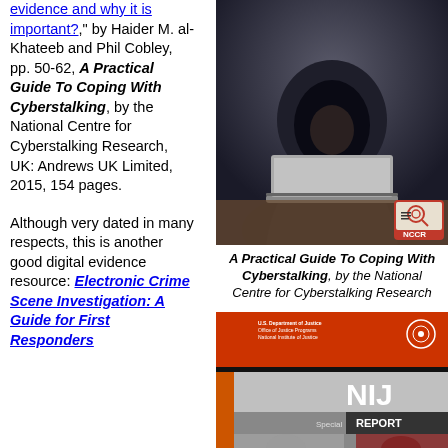evidence and why it is important?," by Haider M. al-Khateeb and Phil Cobley, pp. 50-62, A Practical Guide To Coping With Cyberstalking, by the National Centre for Cyberstalking Research, UK: Andrews UK Limited, 2015, 154 pages.
Although very dated in many respects, this is another good digital evidence resource: Electronic Crime Scene Investigation: A Guide for First Responders
[Figure (photo): A hooded figure sitting at a laptop in a dark setting, with NCCR logo overlay in bottom right corner]
A Practical Guide To Coping With Cyberstalking, by the National Centre for Cyberstalking Research
[Figure (photo): Cover of NIJ Special Report document from U.S. Department of Justice, Office of Justice Programs, National Institute of Justice, dated APR 08]